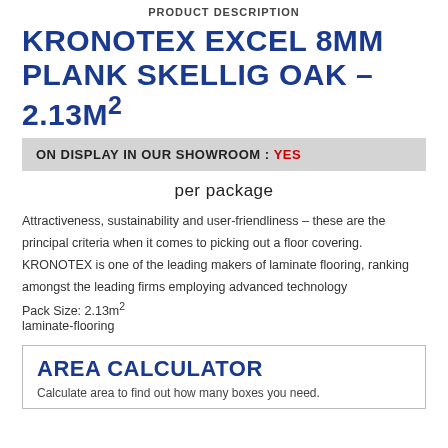PRODUCT DESCRIPTION
KRONOTEX EXCEL 8MM PLANK SKELLIG OAK – 2.13M²
ON DISPLAY IN OUR SHOWROOM : YES
per package
Attractiveness, sustainability and user-friendliness – these are the principal criteria when it comes to picking out a floor covering. KRONOTEX is one of the leading makers of laminate flooring, ranking amongst the leading firms employing advanced technology
Pack Size: 2.13m²
laminate-flooring
AREA CALCULATOR
Calculate area to find out how many boxes you need.